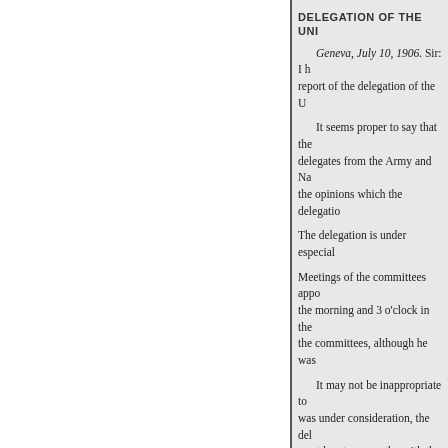DELEGATION OF THE UNI
Geneva, July 10, 1906. Sir: I h report of the delegation of the U
It seems proper to say that the delegates from the Army and Na the opinions which the delegatio
The delegation is under especial
Meetings of the committees appo the morning and 3 o'clock in the the committees, although he was
It may not be inappropriate to was under consideration, the del most hearty sympathy with the g earnest support of the Governme "belief that the fullest and most c clause which M. de Martens pro to take place in the not distant fu
The delegation also referred "to way for securing the arbitral res